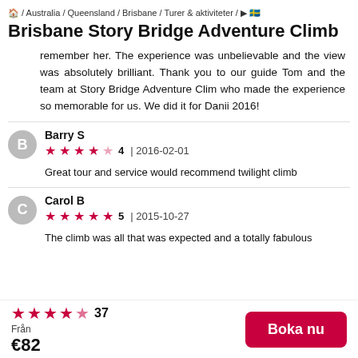/ Australia / Queensland / Brisbane / Turer & aktiviteter / ▶ 🇸🇪
Brisbane Story Bridge Adventure Climb
remember her. The experience was unbelievable and the view was absolutely brilliant. Thank you to our guide Tom and the team at Story Bridge Adventure Clim who made the experience so memorable for us. We did it for Danii 2016!
Barry S
★★★★☆ 4 | 2016-02-01
Great tour and service would recommend twilight climb
Carol B
★★★★★ 5 | 2015-10-27
The climb was all that was expected and a totally fabulous
★★★★½ 37
Från
€82
Boka nu